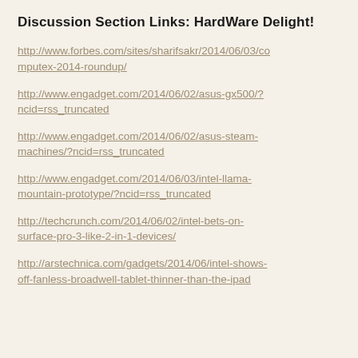Discussion Section Links: HardWare Delight!
http://www.forbes.com/sites/sharifsakr/2014/06/03/computex-2014-roundup/
http://www.engadget.com/2014/06/02/asus-gx500/?ncid=rss_truncated
http://www.engadget.com/2014/06/02/asus-steam-machines/?ncid=rss_truncated
http://www.engadget.com/2014/06/03/intel-llama-mountain-prototype/?ncid=rss_truncated
http://techcrunch.com/2014/06/02/intel-bets-on-surface-pro-3-like-2-in-1-devices/
http://arstechnica.com/gadgets/2014/06/intel-shows-off-fanless-broadwell-tablet-thinner-than-the-ipad